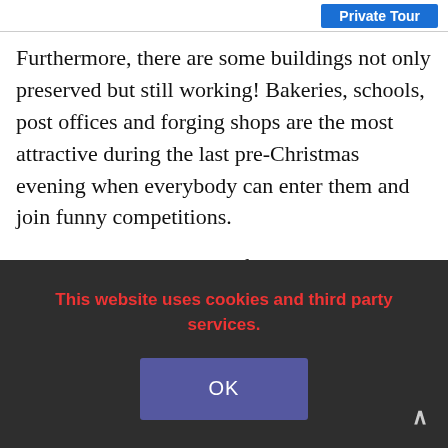Private Tour
Furthermore, there are some buildings not only preserved but still working! Bakeries, schools, post offices and forging shops are the most attractive during the last pre-Christmas evening when everybody can enter them and join funny competitions.
Skansen is also the host of the Christmas marketplace during whole December. It’s impossible to imagine winter Stockholm tourism without this place. You are not f…
This website uses cookies and third party services.
OK